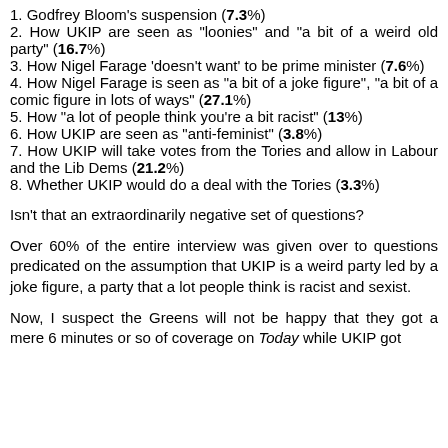1. Godfrey Bloom's suspension (7.3%)
2. How UKIP are seen as "loonies" and "a bit of a weird old party" (16.7%)
3. How Nigel Farage 'doesn't want' to be prime minister (7.6%)
4. How Nigel Farage is seen as "a bit of a joke figure", "a bit of a comic figure in lots of ways" (27.1%)
5. How "a lot of people think you're a bit racist" (13%)
6. How UKIP are seen as "anti-feminist" (3.8%)
7. How UKIP will take votes from the Tories and allow in Labour and the Lib Dems (21.2%)
8. Whether UKIP would do a deal with the Tories (3.3%)
Isn't that an extraordinarily negative set of questions?
Over 60% of the entire interview was given over to questions predicated on the assumption that UKIP is a weird party led by a joke figure, a party that a lot people think is racist and sexist.
Now, I suspect the Greens will not be happy that they got a mere 6 minutes or so of coverage on Today while UKIP got